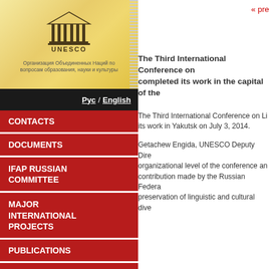[Figure (logo): UNESCO logo with temple building symbol and Russian text below]
Организация Объединенных Наций по вопросам образования, науки и культуры
Рус / English
CONTACTS
DOCUMENTS
IFAP RUSSIAN COMMITTEE
MAJOR INTERNATIONAL PROJECTS
PUBLICATIONS
UNESCO IFAP
SEARCH
« pre
The Third International Conference on completed its work in the capital of the
The Third International Conference on Li its work in Yakutsk on July 3, 2014.
Getachew Engida, UNESCO Deputy Dire organizational level of the conference an contribution made by the Russian Federa preservation of linguistic and cultural dive